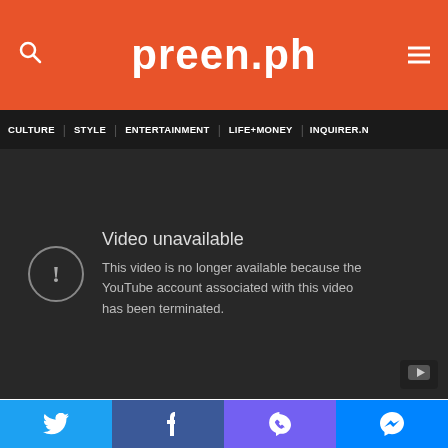preen.ph
CULTURE | STYLE | ENTERTAINMENT | LIFE+MONEY | INQUIRER.N
[Figure (screenshot): Video unavailable error message on dark background. Text reads: 'Video unavailable. This video is no longer available because the YouTube account associated with this video has been terminated.']
#3 20 years of Baduizm
This year marks the 20th anniversary of her first album